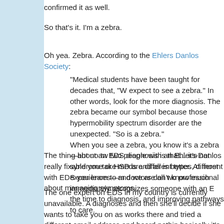confirmed it as well.
So that's it. I'm a zebra.
Oh yea. Zebra. According to the Ehlers Danlos Society:
"Medical students have been taught for decades that, "W expect to see a zebra." In other words, look for the more diagnosis. The zebra became our symbol because those hypermobility spectrum disorder are the unexpected. "So is a zebra."
When you see a zebra, you know it's a zebra—but no tw two people with an Ehlers-Danlos syndrome or HSD are different types, different experiences—and we are all wo professional immediately recognizes someone with an E the time to diagnosis, and improving pathways to care.
The thing about an EDS diagnosis is that... it's not really fixable you take meds and all is better. At most with EDS you learn to m doctors don't know much about managing symptoms.
The one expert on EDS in my country is currently unavailable. A diagnoses and then she'll decide if she wants to take you on as works there and tried a different email address and heard nothin basically it's all up to me. There are a lot of EDS groups on c